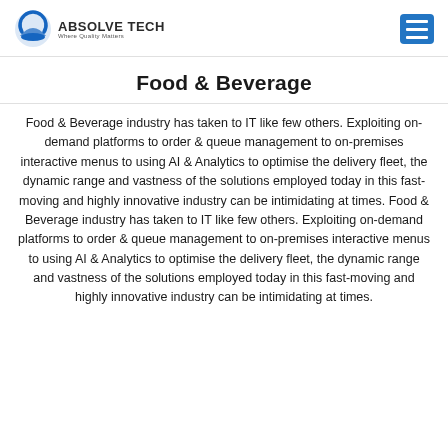ABSOLVE TECH Where Quality Matters
Food & Beverage
Food & Beverage industry has taken to IT like few others. Exploiting on-demand platforms to order & queue management to on-premises interactive menus to using AI & Analytics to optimise the delivery fleet, the dynamic range and vastness of the solutions employed today in this fast-moving and highly innovative industry can be intimidating at times. Food & Beverage industry has taken to IT like few others. Exploiting on-demand platforms to order & queue management to on-premises interactive menus to using AI & Analytics to optimise the delivery fleet, the dynamic range and vastness of the solutions employed today in this fast-moving and highly innovative industry can be intimidating at times.